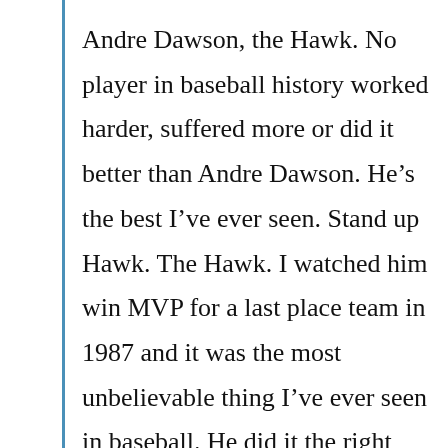Andre Dawson, the Hawk. No player in baseball history worked harder, suffered more or did it better than Andre Dawson. He’s the best I’ve ever seen. Stand up Hawk. The Hawk. I watched him win MVP for a last place team in 1987 and it was the most unbelievable thing I’ve ever seen in baseball. He did it the right way, the natural way and he did it in the field and on the bases and in every way, and I hope he will stand up here someday. We